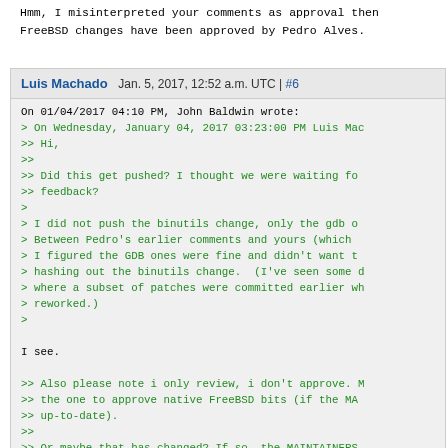Hmm, I misinterpreted your comments as approval then FreeBSD changes have been approved by Pedro Alves.
Luis Machado  Jan. 5, 2017, 12:52 a.m. UTC | #6
On 01/04/2017 04:10 PM, John Baldwin wrote:
> On Wednesday, January 04, 2017 03:23:00 PM Luis Mac
>> Hi,
>>
>> Did this get pushed? I thought we were waiting fo
>> feedback?
>
> I did not push the binutils change, only the gdb o
> Between Pedro's earlier comments and yours (which
> I figured the GDB ones were fine and didn't want t
> hashing out the binutils change.  (I've seen some
> where a subset of patches were committed earlier wh
> reworked.)
>

I see.

>> Also please note i only review, i don't approve. M
>> the one to approve native FreeBSD bits (if the MA
>> up-to-date).
>>
>> Or maybe that has changed? If so, the MAINTAINERS
>